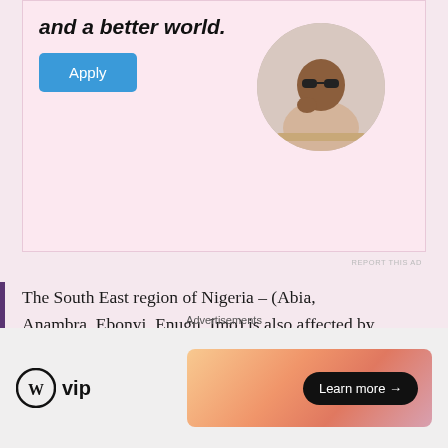[Figure (photo): Advertisement banner with pink background, 'Apply' button, and circular photo of a man thinking]
REPORT THIS AD
The South East region of Nigeria – (Abia, Anambra, Ebonyi, Enugu, Imo) is also affected by the national challenges inherent in the Educational sector – poor accessibility, dwindling quality, lack of relatability, equity or inclusivity, gaps in functionality and lack of affordability. World Economic Forum (WEF) ranked Nigeria 136th out of 137, in Primary Education in the
Advertisements
[Figure (logo): WordPress VIP logo and a Learn more advertisement banner with gradient background]